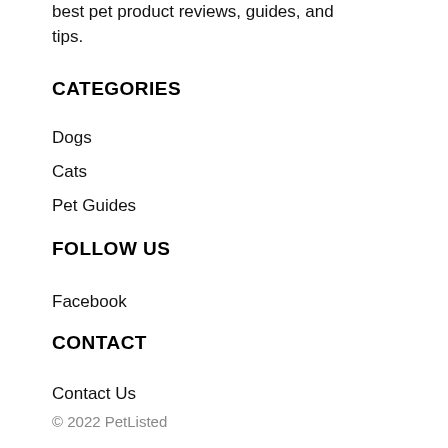best pet product reviews, guides, and tips.
CATEGORIES
Dogs
Cats
Pet Guides
FOLLOW US
Facebook
CONTACT
Contact Us
© 2022 PetListed